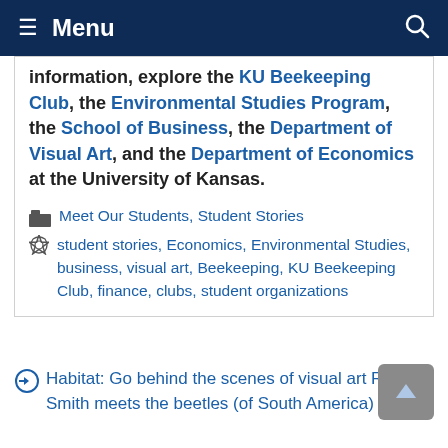≡ Menu  🔍
information, explore the KU Beekeeping Club, the Environmental Studies Program, the School of Business, the Department of Visual Art, and the Department of Economics at the University of Kansas.
📁 Meet Our Students, Student Stories
🏷 student stories, Economics, Environmental Studies, business, visual art, Beekeeping, KU Beekeeping Club, finance, clubs, student organizations
⊙ Habitat: Go behind the scenes of visual art Rachel Smith meets the beetles (of South America) ⊙